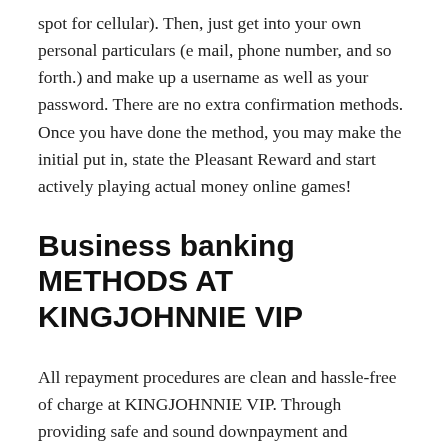spot for cellular). Then, just get into your own personal particulars (e mail, phone number, and so forth.) and make up a username as well as your password. There are no extra confirmation methods. Once you have done the method, you may make the initial put in, state the Pleasant Reward and start actively playing actual money online games!
Business banking METHODS AT KINGJOHNNIE VIP
All repayment procedures are clean and hassle-free of charge at KINGJOHNNIE VIP. Through providing safe and sound downpayment and withdrawal methods, players are able to engage in for real money after their account activation. Some more and hassle-free payment techniques include quick put in, internet wallets, and pre-